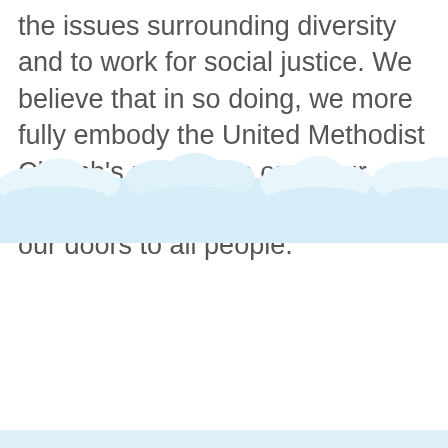the issues surrounding diversity and to work for social justice. We believe that in so doing, we more fully embody the United Methodist Church's mission to open our hearts, open our minds, and open our doors to all people.
[Figure (illustration): A decorative illustration of white fluffy clouds against a light blue sky background, spanning the full width of the page.]